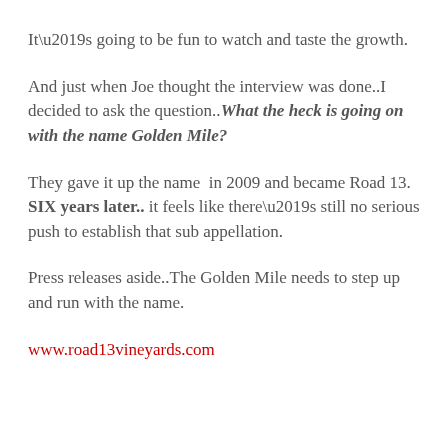It’s going to be fun to watch and taste the growth.
And just when Joe thought the interview was done..I decided to ask the question..What the heck is going on with the name Golden Mile?
They gave it up the name in 2009 and became Road 13. SIX years later.. it feels like there’s still no serious push to establish that sub appellation.
Press releases aside..The Golden Mile needs to step up and run with the name.
www.road13vineyards.com